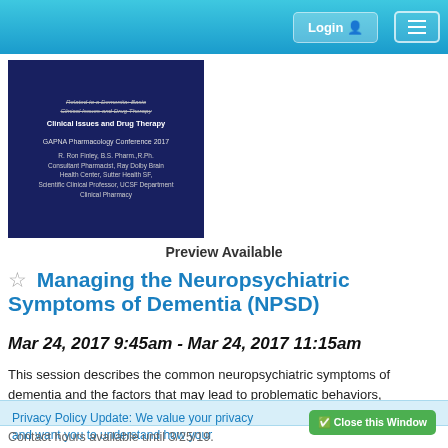Login | Menu navigation
[Figure (screenshot): Slide preview image for GAPNA Pharmacology Conference 2017 presentation on Managing Neuropsychiatric Symptoms of Dementia, showing title, presenter R. Ron Finley B.S. Pharm. R.Ph., Consultant Pharmacist Ray Dolby Brain Health Center Sutter Health SF, Scientific Clinical Professor UCSF Department Clinical Pharmacy]
Preview Available
Managing the Neuropsychiatric Symptoms of Dementia (NPSD)
Mar 24, 2017 9:45am - Mar 24, 2017 11:15am
This session describes the common neuropsychiatric symptoms of dementia and the factors that may lead to problematic behaviors,
Privacy Policy Update: We value your privacy and want you to understand how your information is being used. To make sure you have current and accurate information about this sites privacy practices please visit the privacy center by clicking here.
Contact hours available until 3/25/19.